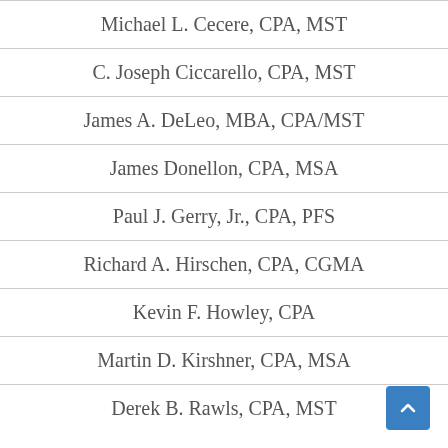Michael L. Cecere, CPA, MST
C. Joseph Ciccarello, CPA, MST
James A. DeLeo, MBA, CPA/MST
James Donellon, CPA, MSA
Paul J. Gerry, Jr., CPA, PFS
Richard A. Hirschen, CPA, CGMA
Kevin F. Howley, CPA
Martin D. Kirshner, CPA, MSA
Derek B. Rawls, CPA, MST